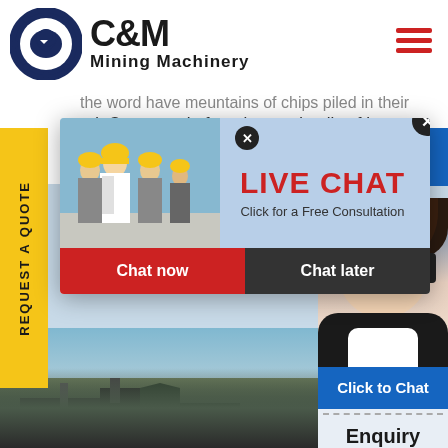[Figure (logo): C&M Mining Machinery logo with eagle in gear circle]
the word have meuntains of chips piled in their
od, Contacter le fournisseur details of hammer
40tones fordsburginn details of hammer mill
ones Ge...
[Figure (infographic): Live Chat popup overlay with workers photo, LIVE CHAT heading, Click for a Free Consultation, Chat now and Chat later buttons]
REQUEST A QUOTE
Hours
line
Click to Chat
Enquiry